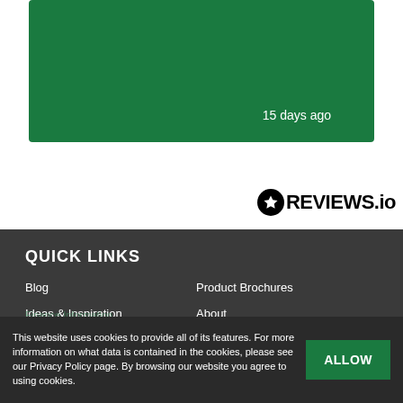[Figure (other): Green card element with '15 days ago' text]
[Figure (logo): REVIEWS.io logo with star circle icon]
QUICK LINKS
Blog
Ideas & Inspiration
Central Heating
Jobs
Contact
Product Brochures
About
Find an Installer
Terms & Conditions
Privacy Policy
This website uses cookies to provide all of its features. For more information on what data is contained in the cookies, please see our Privacy Policy page. By browsing our website you agree to using cookies.